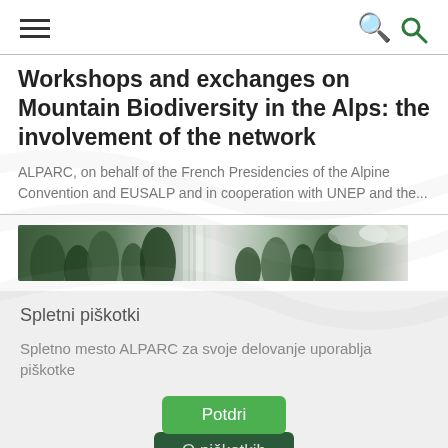[hamburger menu icon] [search icon]
Workshops and exchanges on Mountain Biodiversity in the Alps: the involvement of the network
ALPARC, on behalf of the French Presidencies of the Alpine Convention and EUSALP and in cooperation with UNEP and the...
[Figure (photo): Panoramic photo of a mountain forest waterfall scene, primarily dark greens and grey-white water.]
Spletni piškotki
Spletno mesto ALPARC za svoje delovanje uporablja piškotke
Potdri
O piškotkih